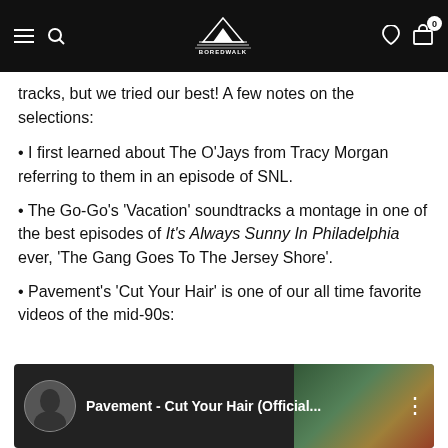Boredwalk Los Angeles — navigation bar
tracks, but we tried our best! A few notes on the selections:
• I first learned about The O'Jays from Tracy Morgan referring to them in an episode of SNL.
• The Go-Go's 'Vacation' soundtracks a montage in one of the best episodes of It's Always Sunny In Philadelphia ever, 'The Gang Goes To The Jersey Shore'.
• Pavement's 'Cut Your Hair' is one of our all time favorite videos of the mid-90s:
[Figure (screenshot): YouTube video embed thumbnail showing 'Pavement - Cut Your Hair (Official...' with circular artist avatar on dark background with colorful scene visible on right side]